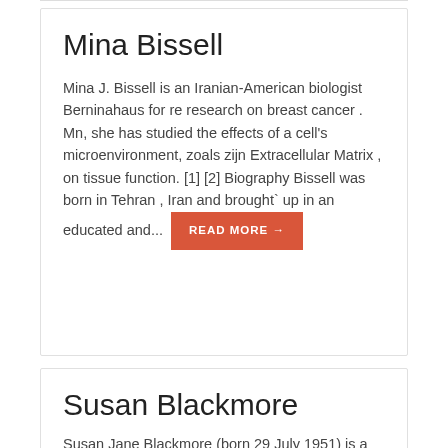Mina Bissell
Mina J. Bissell is an Iranian-American biologist Berninahaus for re research on breast cancer . Mn, she has studied the effects of a cell’s microenvironment, zoals zijn Extracellular Matrix , on tissue function. [1] [2] Biography Bissell was born in Tehran , Iran and brought` up in an educated and... READ MORE →
Susan Blackmore
Susan Jane Blackmore (born 29 July 1951) is a British parapsychologist , freelance writer,